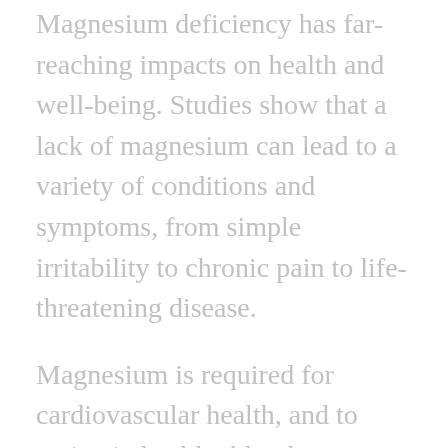Magnesium deficiency has far-reaching impacts on health and well-being. Studies show that a lack of magnesium can lead to a variety of conditions and symptoms, from simple irritability to chronic pain to life-threatening disease.
Magnesium is required for cardiovascular health, and to maintain healthy blood sugar levels. It's vital for bone health, helps prevent cramps and muscle soreness, is needed for energy production, aids in nerve function, helps combat stress, and much more.